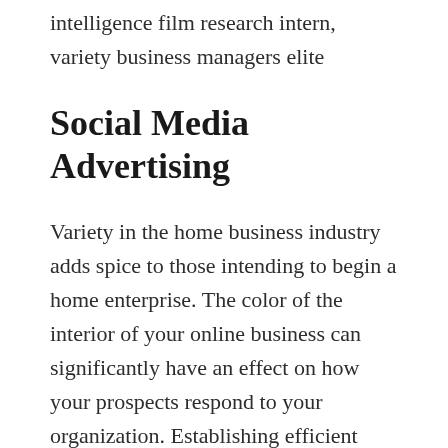intelligence film research intern, variety business managers elite
Social Media Advertising
Variety in the home business industry adds spice to those intending to begin a home enterprise. The color of the interior of your online business can significantly have an effect on how your prospects respond to your organization. Establishing efficient business